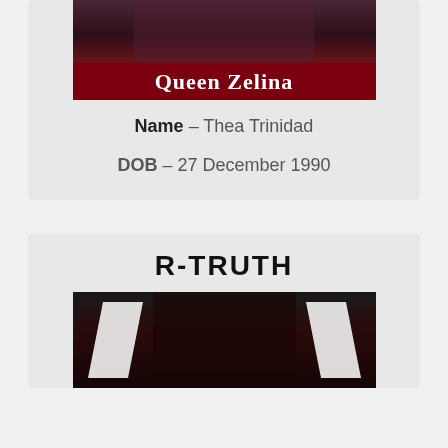[Figure (photo): Queen Zelina wrestler photo with dark red banner showing name 'Queen Zelina']
Name – Thea Trinidad
DOB – 27 December 1990
R-TRUTH
[Figure (photo): R-Truth WWE wrestler photo with WWE logo lightning bolt graphics on dark background]